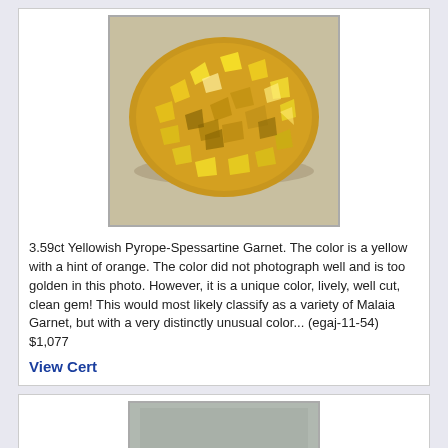[Figure (photo): Photo of a 3.59ct Yellowish Pyrope-Spessartine Garnet gemstone, oval cut, showing golden-yellow color with bright facet reflections on a light gray background.]
3.59ct Yellowish Pyrope-Spessartine Garnet. The color is a yellow with a hint of orange. The color did not photograph well and is too golden in this photo. However, it is a unique color, lively, well cut, clean gem! This would most likely classify as a variety of Malaia Garnet, but with a very distinctly unusual color... (egaj-11-54) $1,077
View Cert
[Figure (photo): Partial view of a second gemstone listing card, showing the top of another gem image.]